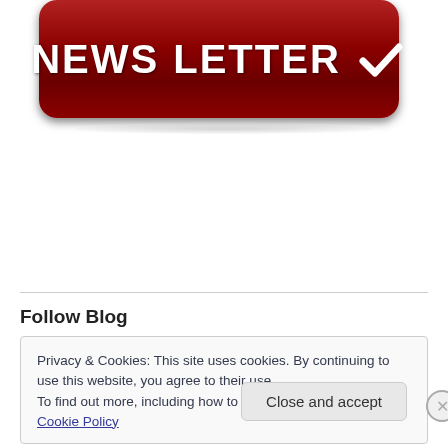[Figure (illustration): Red rounded rectangle button with white bold text reading 'NEWSLETTER' and a white checkmark icon on the right, with a shadow beneath it.]
Follow Blog
Privacy & Cookies: This site uses cookies. By continuing to use this website, you agree to their use.
To find out more, including how to control cookies, see here: Cookie Policy
Close and accept